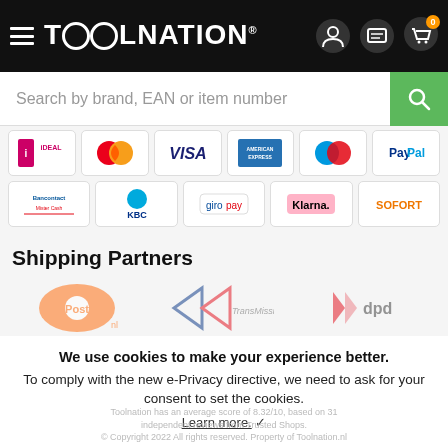[Figure (logo): Toolnation website header with hamburger menu, logo, user/chat/cart icons]
[Figure (infographic): Search bar with placeholder 'Search by brand, EAN or item number' and green search button]
[Figure (infographic): Payment method icons: iDEAL, Mastercard, VISA, American Express, Maestro, PayPal, Bancontact/Mister Cash, KBC, giropay, Klarna, SOFORT]
Shipping Partners
[Figure (logo): Shipping partner logos: PostNL, TransMission, DPD]
We use cookies to make your experience better. To comply with the new e-Privacy directive, we need to ask for your consent to set the cookies.
Learn more. ✓
Toolnation has an average score of 8.32/10, based on 31 independent reviews from Trusted Shops. © Copyright 2022 All rights reserved. Property of Toolnation.nl